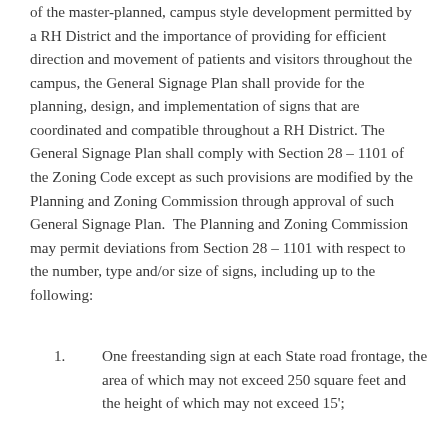of the master-planned, campus style development permitted by a RH District and the importance of providing for efficient direction and movement of patients and visitors throughout the campus, the General Signage Plan shall provide for the planning, design, and implementation of signs that are coordinated and compatible throughout a RH District. The General Signage Plan shall comply with Section 28 – 1101 of the Zoning Code except as such provisions are modified by the Planning and Zoning Commission through approval of such General Signage Plan.  The Planning and Zoning Commission may permit deviations from Section 28 – 1101 with respect to the number, type and/or size of signs, including up to the following:
1.    One freestanding sign at each State road frontage, the area of which may not exceed 250 square feet and the height of which may not exceed 15';